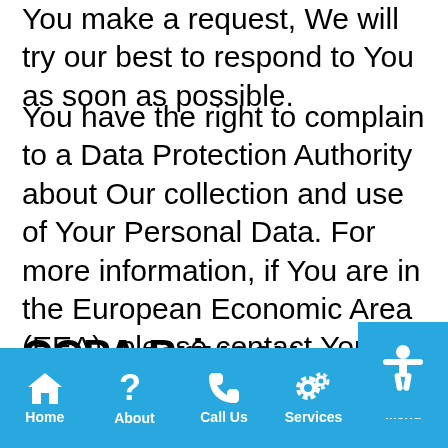You make a request, We will try our best to respond to You as soon as possible.
You have the right to complain to a Data Protection Authority about Our collection and use of Your Personal Data. For more information, if You are in the European Economic Area (EEA), please contact Your local data protection authority in the EEA.
CCPA Privacy
Home | About | Call Us | Services | Menu